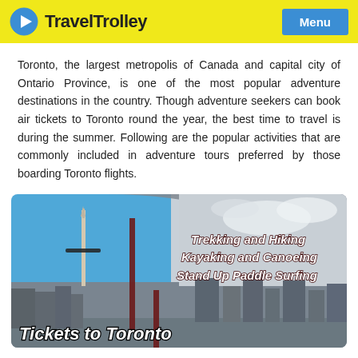Travel Trolley | Menu
Toronto, the largest metropolis of Canada and capital city of Ontario Province, is one of the most popular adventure destinations in the country. Though adventure seekers can book air tickets to Toronto round the year, the best time to travel is during the summer. Following are the popular activities that are commonly included in adventure tours preferred by those boarding Toronto flights.
[Figure (photo): Banner image showing Toronto skyline with CN Tower on the left side in color/grey, a grey curved area on the right, and text overlays listing activities: Trekking and Hiking, Kayaking and Canoeing, Stand Up Paddle Surfing, and Tickets to Toronto at the bottom.]